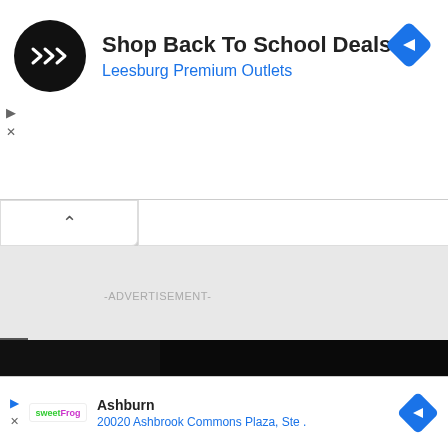[Figure (screenshot): Online advertisement banner for 'Shop Back To School Deals' at Leesburg Premium Outlets. Black circular logo with double arrow icon on left, large text title, blue subtitle, and blue diamond navigation icon on right.]
-ADVERTISEMENT-
[Figure (screenshot): Video thumbnail panel with dark/black background showing a small circle and dot elements. Text overlay reads 'How To Open 7 Chakras - Meditation and Healing - SunSigns.Org']
[Figure (screenshot): Bottom advertisement for sweetFrog in Ashburn at 20020 Ashbrook Commons Plaza, Ste. with blue diamond navigation icon.]